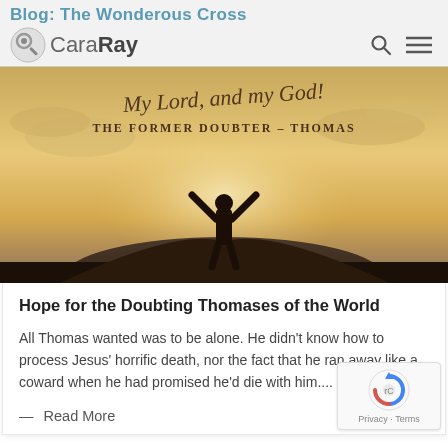Blog: The Wonderous Cross
[Figure (logo): CaraRay logo with circular icon and text 'CaraRay', search and menu icons on right]
[Figure (photo): Hero banner image showing a person standing on a hilltop with arms raised toward a dramatic golden sky. Text overlay reads 'My Lord, and my God!' and 'THE FORMER DOUBTER – THOMAS']
Hope for the Doubting Thomases of the World
All Thomas wanted was to be alone. He didn't know how to process Jesus' horrific death, nor the fact that he ran away like a coward when he had promised he'd die with him....
— Read More
[Figure (logo): reCAPTCHA badge with Privacy - Terms text]